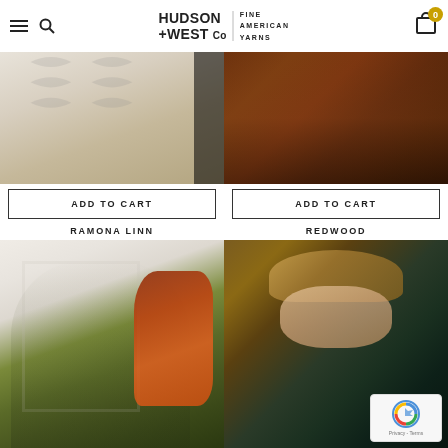Hudson + West Co — Fine American Yarns
[Figure (photo): Close-up of a cream/beige cable-knit knitwear garment]
ADD TO CART
RAMONA LINN
[Figure (photo): Close-up of a rust/brown knitwear garment]
ADD TO CART
REDWOOD
[Figure (photo): Woman with long red hair wearing an olive/green knit triangle shawl]
[Figure (photo): Woman wearing a tan hat holding a dark teal/green knit shawl, with reCAPTCHA badge overlay]